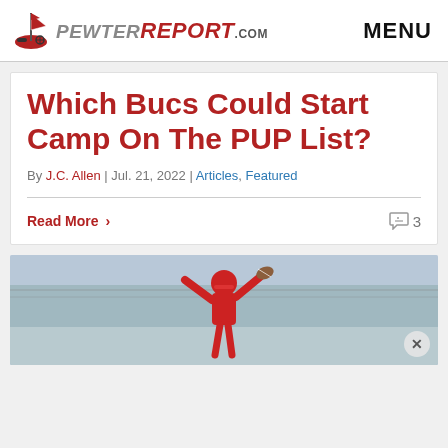PewterReport.com — MENU
Which Bucs Could Start Camp On The PUP List?
By J.C. Allen | Jul. 21, 2022 | Articles, Featured
Read More  3
[Figure (photo): A football player in red uniform making a catch, photographed outdoors near a chain-link fence]